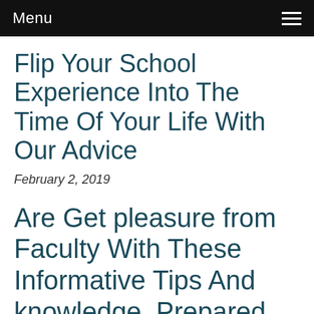Menu
Flip Your School Experience Into The Time Of Your Life With Our Advice
February 2, 2019
Are Get pleasure from Faculty With These Informative Tips And knowledge. Prepared For Faculty? Attempt The